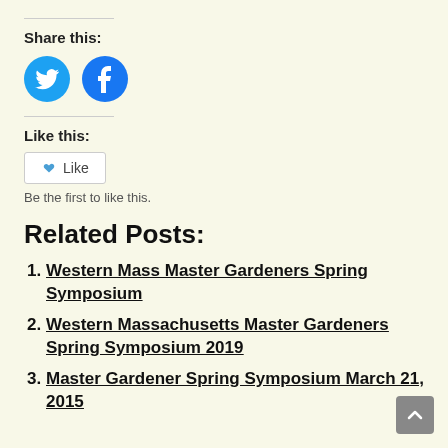Share this:
[Figure (illustration): Two circular social media icons: Twitter (bird) and Facebook (f), both in cyan/blue color]
Like this:
[Figure (illustration): A WordPress Like button with a star icon and the word Like]
Be the first to like this.
Related Posts:
Western Mass Master Gardeners Spring Symposium
Western Massachusetts Master Gardeners Spring Symposium 2019
Master Gardener Spring Symposium March 21, 2015